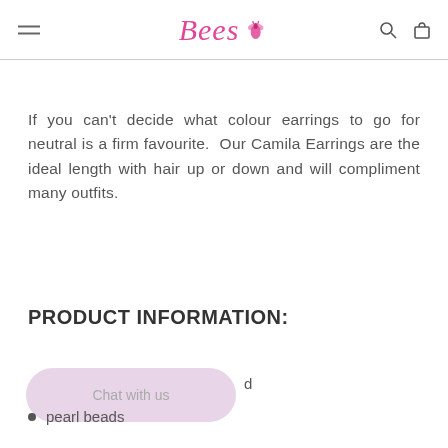Bees — navigation header with hamburger menu, logo, search and cart icons
If you can't decide what colour earrings to go for neutral is a firm favourite.  Our Camila Earrings are the ideal length with hair up or down and will compliment many outfits.
PRODUCT INFORMATION:
pearl beads